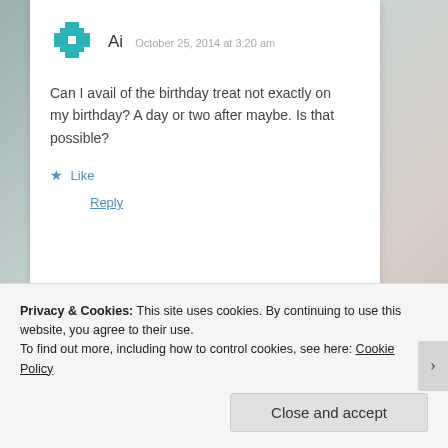[Figure (illustration): Teal geometric avatar icon for user 'Ai']
Ai   October 25, 2014 at 3:20 am
Can I avail of the birthday treat not exactly on my birthday? A day or two after maybe. Is that possible?
★ Like
Reply
[Figure (illustration): Red/maroon snowflake-style avatar icon for user 'josh']
josh   June 13, 2015 at 5:04 am
Privacy & Cookies: This site uses cookies. By continuing to use this website, you agree to their use.
To find out more, including how to control cookies, see here: Cookie Policy
Close and accept